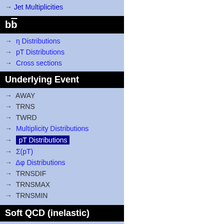→ Jet Multiplicities
bb̄
→ η Distributions
→ pT Distributions
→ Cross sections
Underlying Event
→ AWAY
→ TRNS
→ TWRD
→ Multiplicity Distributions
→ pT Distributions (selected)
→ Σ(pT)
→ Δφ Distributions
→ TRNSDIF
→ TRNSMAX
→ TRNSMIN
Soft QCD (inelastic)
→ <pT> vs Nch
pp @ 900 GeV
[Figure (continuous-plot): Top partial chart showing a ratio plot with red dashed and blue filled markers, y-axis around 0.5, x-axis showing values up to ~5+]
CN
[Figure (continuous-plot): 900 GeV pp charged particle pT distribution on log scale. Y-axis: 1/N_ev dN_ch/dp_T [GeV^-1] ranging from 10^-2 to 10^3. Shows colored markers (red triangle, green square, blue triangle, orange) on a steeply falling spectrum from ~6 at low pT to ~0.01 at high pT.]